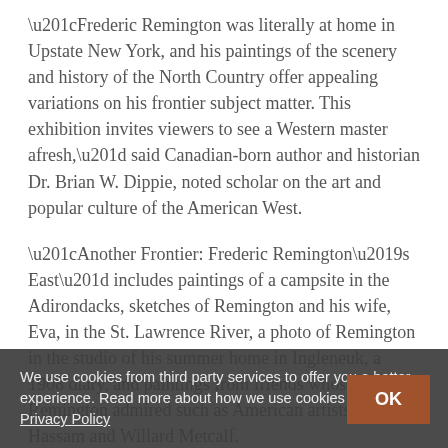“Frederic Remington was literally at home in Upstate New York, and his paintings of the scenery and history of the North Country offer appealing variations on his frontier subject matter. This exhibition invites viewers to see a Western master afresh,” said Canadian-born author and historian Dr. Brian W. Dippie, noted scholar on the art and popular culture of the American West.
“Another Frontier: Frederic Remington’s East” includes paintings of a campsite in the Adirondacks, sketches of Remington and his wife, Eva, in the St. Lawrence River, a photo of Remington in the studio of his summer home in Ingleneuk, a 1908 diary, and paintings from friends whose work Remington admired such as American artists Childe Hassam and Willard Metcalf.
As part of an unprecedented exchange between the two
We use cookies from third party services to offer you a better experience. Read more about how we use cookies on our Privacy Policy
OK